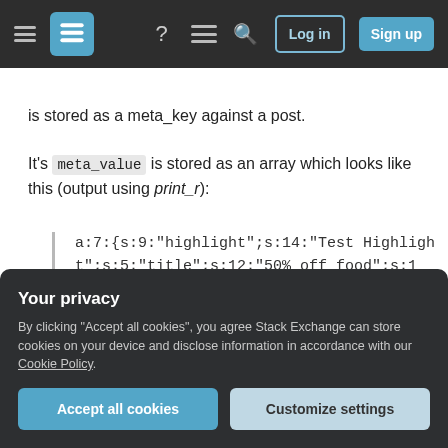[Figure (screenshot): Stack Exchange website navigation bar with hamburger menu, logo, help icon, chat icon, search icon, Log in and Sign up buttons on dark background]
is stored as a meta_key against a post.
It's meta_value is stored as an array which looks like this (output using print_r):
a:7:{s:9:"highlight";s:14:"Test Highlight";s:5:"title";s:12:"50% off food";s:11:"description";s:16:"Test description";s:4:"code";s:7:"1524521";s:11:"popup_image";s:4:"4548";s:17:"popup_description";s:17:"Popup
Your privacy
By clicking "Accept all cookies", you agree Stack Exchange can store cookies on your device and disclose information in accordance with our Cookie Policy.
Accept all cookies
Customize settings